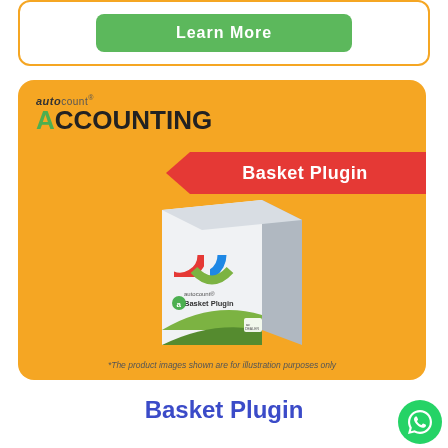[Figure (illustration): Green 'Learn More' button inside an orange-bordered card]
[Figure (illustration): AutoCount Accounting Basket Plugin product box on orange background with red arrow banner reading 'Basket Plugin' and disclaimer text '*The product images shown are for illustration purposes only']
Basket Plugin
[Figure (logo): WhatsApp green circle icon in bottom right corner]